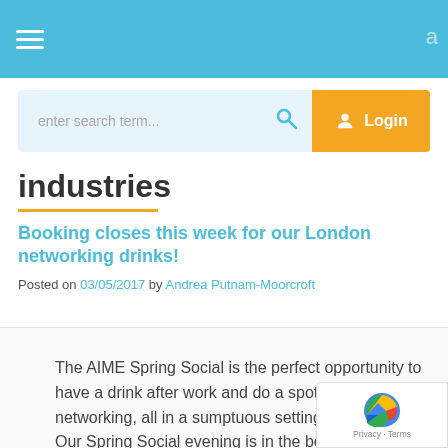Navigation bar with hamburger menu and blue background
[Figure (screenshot): Search bar with placeholder 'enter search term...' and magnifying glass icon, plus orange Login button with user icon]
industries
Booking closes this week for our London networking drinks!
Posted on 03/05/2017 by Andrea Putnam-Moorcroft
The AIME Spring Social is the perfect opportunity to have a drink after work and do a spot of business networking, all in a sumptuous setting by the river. Our Spring Social evening is in the beautiful Voltaire Bar at the Crowne Plaza Hotel in Blackfriars, conveniently close to public transport links for easy access.